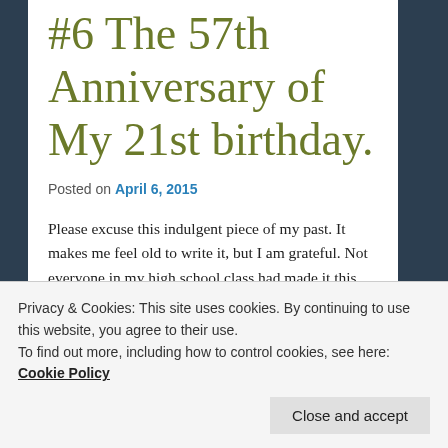#6 The 57th Anniversary of My 21st birthday.
Posted on April 6, 2015
Please excuse this indulgent piece of my past. It makes me feel old to write it, but I am grateful. Not everyone in my high school class had made it this far.
Privacy & Cookies: This site uses cookies. By continuing to use this website, you agree to their use.
To find out more, including how to control cookies, see here: Cookie Policy
Close and accept